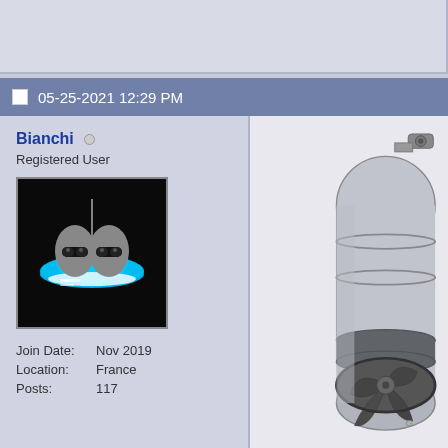05-25-2021 12:29 PM
Bianchi
Registered User
| Join Date: | Nov 2019 |
| Location: | France |
| Posts: | 117 |
[Figure (illustration): Avatar image of two cartoon aliens in a blue flying saucer (UFO)]
[Figure (engineering-diagram): 3D CAD rendering of a mechanical component - appears to be a cylindrical engine or turbine part with fan blades visible at the bottom, shown in gray tones with a mounting bracket at the top right]